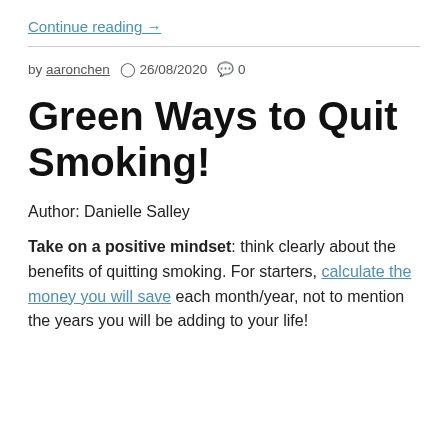Continue reading →
by aaronchen  26/08/2020  0
Green Ways to Quit Smoking!
Author: Danielle Salley
Take on a positive mindset: think clearly about the benefits of quitting smoking. For starters, calculate the money you will save each month/year, not to mention the years you will be adding to your life!